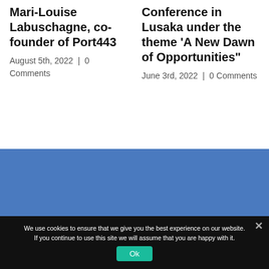Mari-Louise Labuschagne, co-founder of Port443
August 5th, 2022 | 0 Comments
Conference in Lusaka under the theme 'A New Dawn of Opportunities'
June 3rd, 2022 | 0 Comments
We use cookies to ensure that we give you the best experience on our website. If you continue to use this site we will assume that you are happy with it.